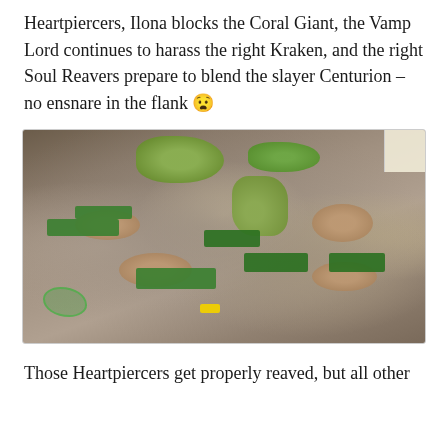Heartpiercers, Ilona blocks the Coral Giant, the Vamp Lord continues to harass the right Kraken, and the right Soul Reavers prepare to blend the slayer Centurion – no ensnare in the flank 😧
[Figure (photo): Overhead photo of a tabletop wargame in progress, showing miniatures on a grey mat with terrain pieces including green trees, rocky formations, and unit bases. Multiple units are positioned across the board.]
Those Heartpiercers get properly reaved, but all other